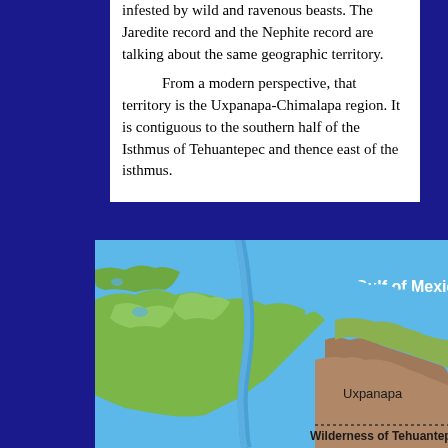infested by wild and ravenous beasts. The Jaredite record and the Nephite record are talking about the same geographic territory. From a modern perspective, that territory is the Uxpanapa-Chimalapa region. It is contiguous to the southern half of the Isthmus of Tehuantepec and thence east of the isthmus.
[Figure (map): Topographic/satellite-style map showing the Gulf of Mexico to the north, green terrain of the Isthmus region, a river running through the center, and the Uxpanapa highland (brownish) to the southeast. Labels include 'Gulf of Mexico', 'Uxpanapa', and 'Wilderness of Tehuantepec' with a dotted boundary line.]